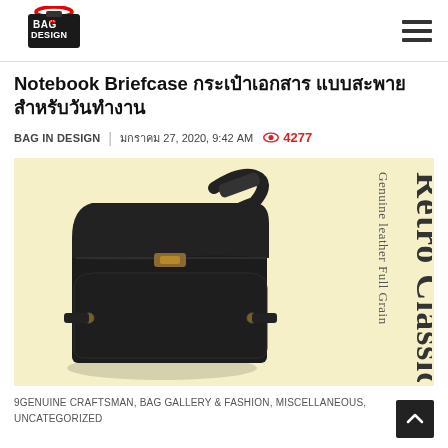BAG IN DESIGN logo and navigation
Notebook Briefcase กระเป๋าเอกสาร แบบสะพาย สำหรับวันทำงาน
BAG IN DESIGN | มกราคม 27, 2020, 9:42 AM  4277
[Figure (photo): Black leather notebook briefcase/messenger bag on cream background with text 'Retro Classic Genuine Leather Full Grain' on the right side]
9GENUINE CRAFTSMAN, BAG GALLERY & FASHION, MISCELLANEOUS, UNCATEGORIZED